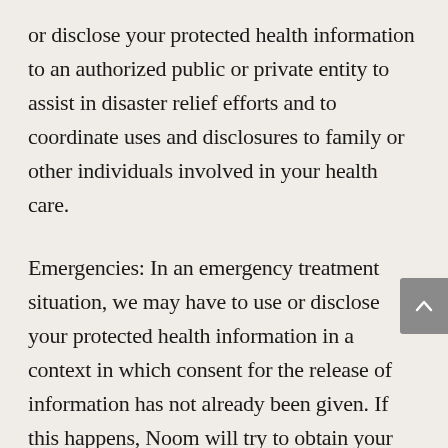or disclose your protected health information to an authorized public or private entity to assist in disaster relief efforts and to coordinate uses and disclosures to family or other individuals involved in your health care.
Emergencies: In an emergency treatment situation, we may have to use or disclose your protected health information in a context in which consent for the release of information has not already been given. If this happens, Noom will try to obtain your consent to the release of information as soon as reasonably practicable after the delivery of the treatment. If Noom is required to treat you and has attempted to obtain your consent but is unable to obtain your consent, it may still use or disclose your